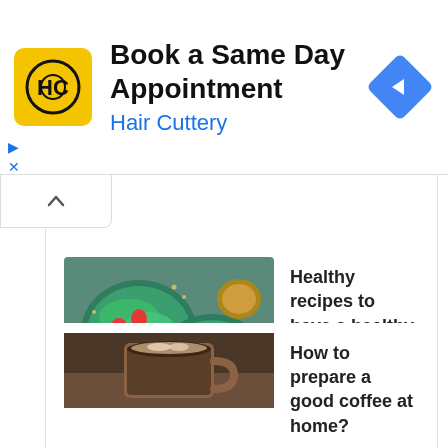[Figure (infographic): Hair Cuttery advertisement banner. Logo is a yellow square with HC initials. Title: Book a Same Day Appointment. Subtitle: Hair Cuttery. Blue diamond arrow icon on the right.]
Book a Same Day Appointment
Hair Cuttery
[Figure (photo): Salad bowls with strawberries, grilled chicken, seeds and dressing on a teal/green background]
Healthy recipes to have a healthy menu throughout the month
July 21, 2022
[Figure (photo): Coffee drink with foam, partially visible at bottom of page]
How to prepare a good coffee at home?